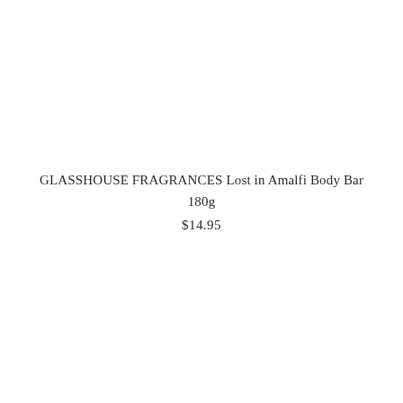GLASSHOUSE FRAGRANCES Lost in Amalfi Body Bar 180g
$14.95